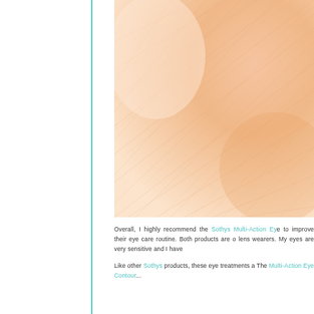[Figure (photo): Close-up macro photograph of human skin texture showing detailed skin surface with fine lines and pores, warm peach/orange tones]
Overall, I highly recommend the Sothys Multi-Action Ey... to improve their eye care routine. Both products are o... lens wearers. My eyes are very sensitive and I have...
Like other Sothys products, these eye treatments a... The Multi-Action Eye Contour...